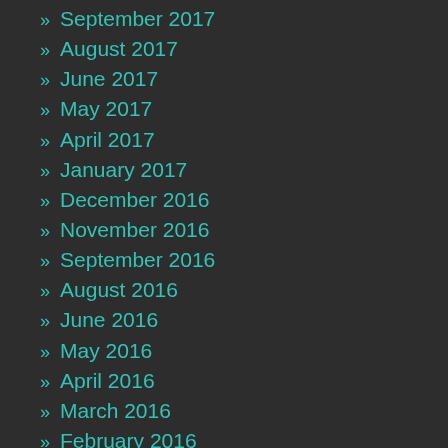» September 2017
» August 2017
» June 2017
» May 2017
» April 2017
» January 2017
» December 2016
» November 2016
» September 2016
» August 2016
» June 2016
» May 2016
» April 2016
» March 2016
» February 2016